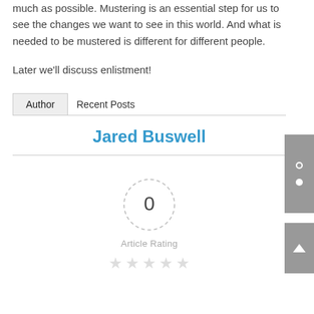much as possible. Mustering is an essential step for us to see the changes we want to see in this world.  And what is needed to be mustered is different for different people.
Later we'll discuss enlistment!
Author   Recent Posts
Jared Buswell
[Figure (other): Article rating circle with dashed border showing 0 rating, label 'Article Rating', and five empty gray stars below]
Article Rating
★ ★ ★ ★ ★